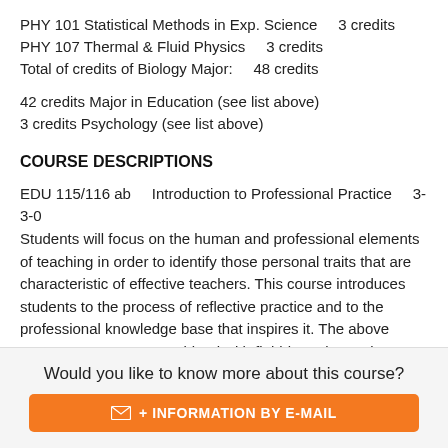PHY 101 Statistical Methods in Exp. Science    3 credits
PHY 107 Thermal & Fluid Physics    3 credits
Total of credits of Biology Major:    48 credits
42 credits Major in Education (see list above)
3 credits Psychology (see list above)
COURSE DESCRIPTIONS
EDU 115/116 ab    Introduction to Professional Practice    3-3-0
Students will focus on the human and professional elements of teaching in order to identify those personal traits that are characteristic of effective teachers. This course introduces students to the process of reflective practice and to the professional knowledge base that inspires it. The above course components combined with field-based experiences
Would you like to know more about this course?
+ INFORMATION BY E-MAIL